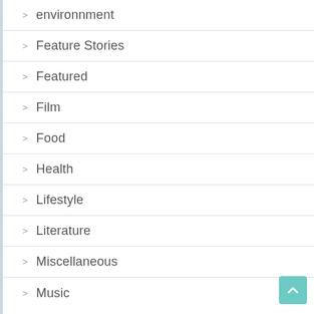> environnment
> Feature Stories
> Featured
> Film
> Food
> Health
> Lifestyle
> Literature
> Miscellaneous
> Music